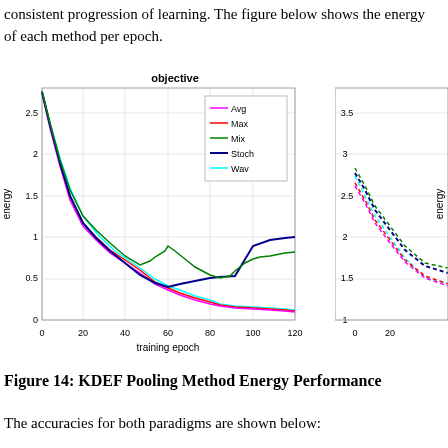consistent progression of learning. The figure below shows the energy of each method per epoch.
[Figure (line-chart): Line chart showing energy vs training epoch (0-120) for 5 pooling methods: Avg (magenta), Max (red), Mix (green), Stoch (blue/dark), Wav (cyan). All start around 2.7-2.8 and decrease. Avg, Max, Wav converge near 0 by epoch 120; Mix and Stoch converge near 0.7-0.8.]
Figure 14: KDEF Pooling Method Energy Performance
The accuracies for both paradigms are shown below: